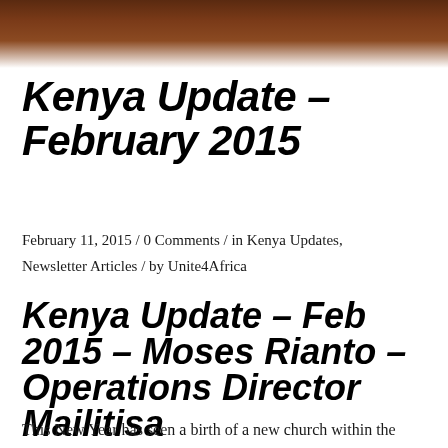[Figure (photo): Brown/reddish-brown textured photo strip at top of page, appears to be a landscape or earth-toned image cropped to a horizontal banner]
Kenya Update - February 2015
February 11, 2015 / 0 Comments / in Kenya Updates, Newsletter Articles / by Unite4Africa
Kenya Update - Feb 2015 - Moses Rianto - Operations Director MAILITISA
This New Year has seen a birth of a new church within the